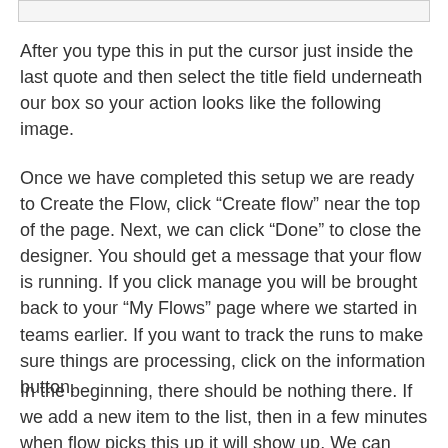[Figure (screenshot): Top portion of a screenshot or UI element shown as a grey outlined box at the top of the page]
After you type this in put the cursor just inside the last quote and then select the title field underneath our box so your action looks like the following image.
Once we have completed this setup we are ready to Create the Flow, click “Create flow” near the top of the page. Next, we can click “Done” to close the designer. You should get a message that your flow is running. If you click manage you will be brought back to your “My Flows” page where we started in teams earlier. If you want to track the runs to make sure things are processing, click on the information button.
In the beginning, there should be nothing there. If we add a new item to the list, then in a few minutes when flow picks this up it will show up. We can check the status or just watch our